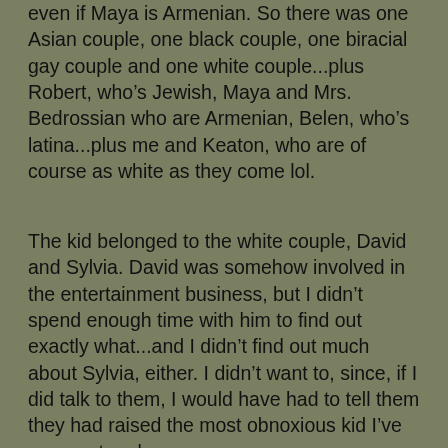even if Maya is Armenian. So there was one Asian couple, one black couple, one biracial gay couple and one white couple...plus Robert, who's Jewish, Maya and Mrs. Bedrossian who are Armenian, Belen, who's latina...plus me and Keaton, who are of course as white as they come lol.
The kid belonged to the white couple, David and Sylvia. David was somehow involved in the entertainment business, but I didn't spend enough time with him to find out exactly what...and I didn't find out much about Sylvia, either. I didn't want to, since, if I did talk to them, I would have had to tell them they had raised the most obnoxious kid I've ever met and